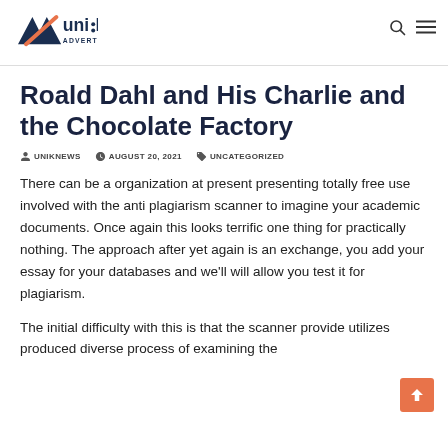uni:k ADVERTISING
Roald Dahl and His Charlie and the Chocolate Factory
UNIKNEWS   AUGUST 20, 2021   UNCATEGORIZED
There can be a organization at present presenting totally free use involved with the anti plagiarism scanner to imagine your academic documents. Once again this looks terrific one thing for practically nothing. The approach after yet again is an exchange, you add your essay for your databases and we'll will allow you test it for plagiarism.
The initial difficulty with this is that the scanner provide utilizes produced diverse process of examining the